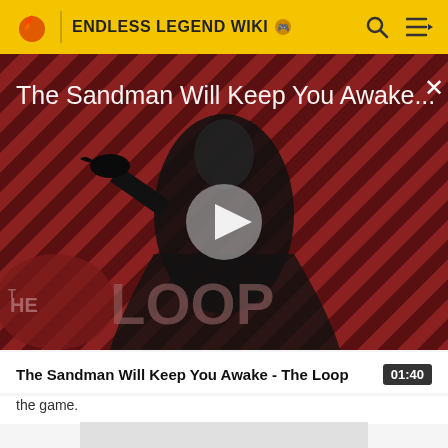ENDLESS LEGEND WIKI
[Figure (screenshot): Video thumbnail showing a dark figure in black cape against a red and black diagonal striped background, with 'THE LOOP' watermark text. Title overlay reads 'The Sandman Will Keep You Awake...' with a play button in the center and a close (X) button top right.]
The Sandman Will Keep You Awake - The Loop
the game.